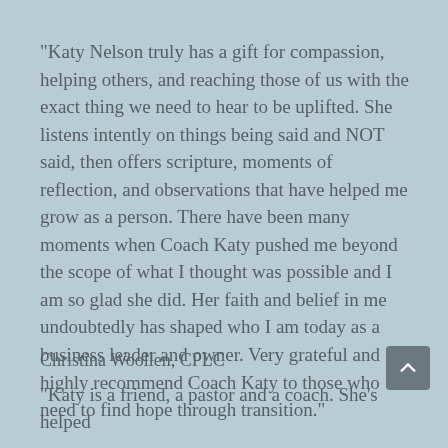"Katy Nelson truly has a gift for compassion, helping others, and reaching those of us with the exact thing we need to hear to be uplifted. She listens intently on things being said and NOT said, then offers scripture, moments of reflection, and observations that have helped me grow as a person. There have been many moments when Coach Katy pushed me beyond the scope of what I thought was possible and I am so glad she did. Her faith and belief in me undoubtedly has shaped who I am today as a business leader and owner. Very grateful and highly recommend Coach Katy to those who need to find hope through transition."
Christina Woollen, CPLC
"Katy is a friend, a pastor and a coach. She's helped